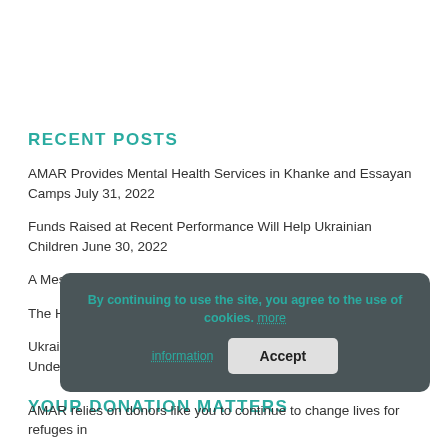RECENT POSTS
AMAR Provides Mental Health Services in Khanke and Essayan Camps July 31, 2022
Funds Raised at Recent Performance Will Help Ukrainian Children June 30, 2022
A Message From Baroness Nicholson June 6, 2022
The History of The World in One Hour May 20, 2022
Ukraine Benefit Musical “Kalyna” Yields Support and Understanding April 29, 2022
YOUR DONATION MATTERS
By continuing to use the site, you agree to the use of cookies. more information
AMAR relies on donors like you to continue to change lives for refuges in